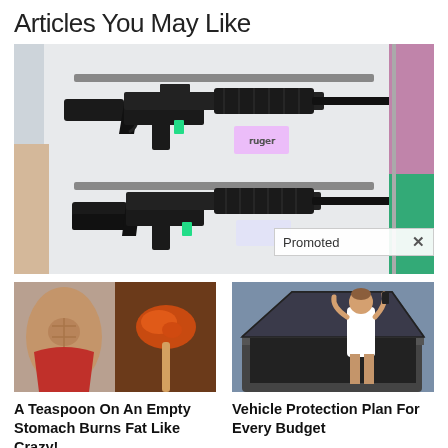Articles You May Like
[Figure (photo): Two black AR-style rifles hanging on a display rack, with price tags and a white/grey background. Partial view of clothing items on the right.]
Promoted ×
[Figure (photo): Composite image of a fit woman's torso and a spoonful of reddish-brown spice/powder, advertising a weight loss article.]
A Teaspoon On An Empty Stomach Burns Fat Like Crazy!
🔥 135,970
[Figure (photo): Woman with hands on head in frustration next to a car with open hood, advertising vehicle protection plans.]
Vehicle Protection Plan For Every Budget